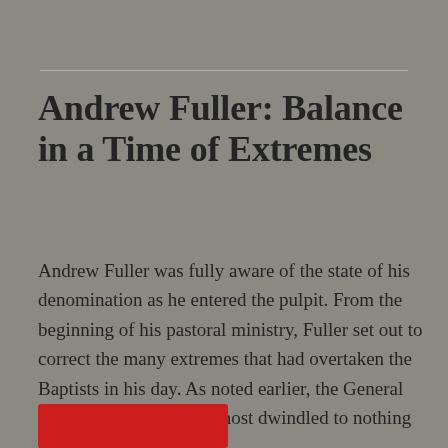Andrew Fuller: Balance in a Time of Extremes
Andrew Fuller was fully aware of the state of his denomination as he entered the pulpit. From the beginning of his pastoral ministry, Fuller set out to correct the many extremes that had overtaken the Baptists in his day. As noted earlier, the General Baptists by 1750 had almost dwindled to nothing because of the …